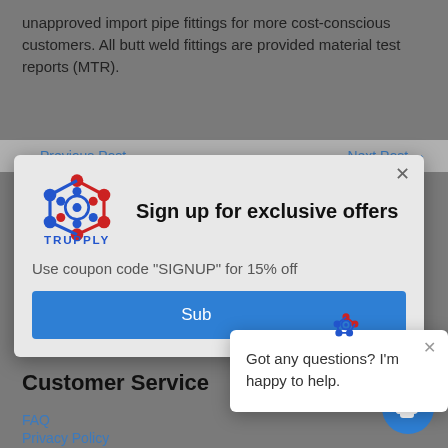unapproved import pipe fittings for more cost-conscious customers. All butt weld fittings are provided material test reports (MTR).
[Figure (screenshot): Trupply sign up modal popup with logo, headline 'Sign up for exclusive offers', coupon code text, and Subscribe button. Overlaid on a webpage showing navigation links and background content.]
Got any questions? I'm happy to help.
Customer Service
FAQ
Privacy Policy